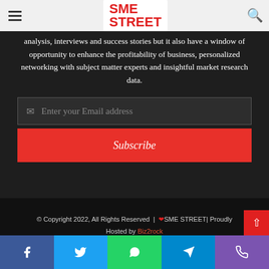SME STREET
analysis, interviews and success stories but it also have a window of opportunity to enhance the profitability of business, personalized networking with subject matter experts and insightful market research data.
Enter your Email address
Subscribe
© Copyright 2022, All Rights Reserved | ❤SME STREET| Proudly Hosted by Biz2rock